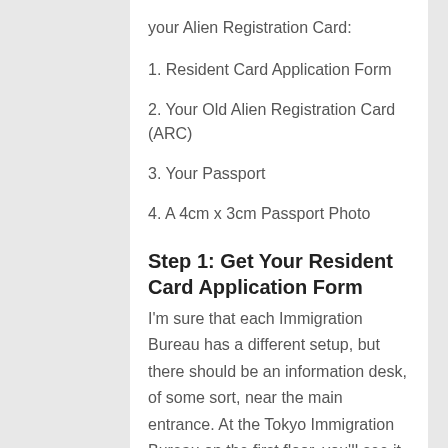your Alien Registration Card:
1. Resident Card Application Form
2. Your Old Alien Registration Card (ARC)
3. Your Passport
4. A 4cm x 3cm Passport Photo
Step 1: Get Your Resident Card Application Form
I'm sure that each Immigration Bureau has a different setup, but there should be an information desk, of some sort, near the main entrance. At the Tokyo Immigration Bureau on the first floor, you'll see it directly in front of you as a